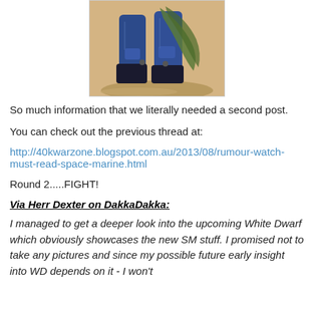[Figure (illustration): Lower body of a Space Marine figure in blue armor, crouching or standing on rocky/sandy ground with green fabric/cloth visible]
So much information that we literally needed a second post.
You can check out the previous thread at:
http://40kwarzone.blogspot.com.au/2013/08/rumour-watch-must-read-space-marine.html
Round 2.....FIGHT!
Via Herr Dexter on DakkaDakka:
I managed to get a deeper look into the upcoming White Dwarf which obviously showcases the new SM stuff. I promised not to take any pictures and since my possible future early insight into WD depends on it - I won't